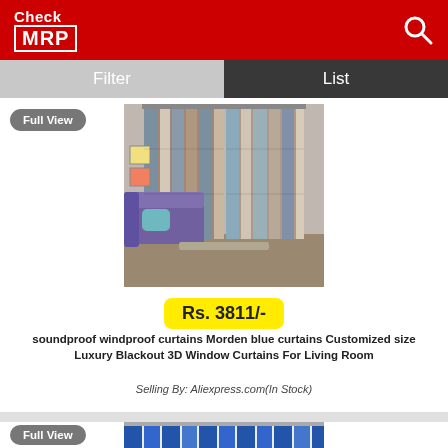[Figure (logo): Check MRP logo on red header background with search icon]
Filter
List
Full View
[Figure (photo): Soundproof windproof Morden blue blackout curtains displayed in a living room with a sofa and wall art]
Rs. 3811/-
soundproof windproof curtains Morden blue curtains Customized size Luxury Blackout 3D Window Curtains For Living Room
Selling By: Aliexpress.com(In Stock)
Full View
[Figure (photo): Partial view of blue curtains in second product listing]